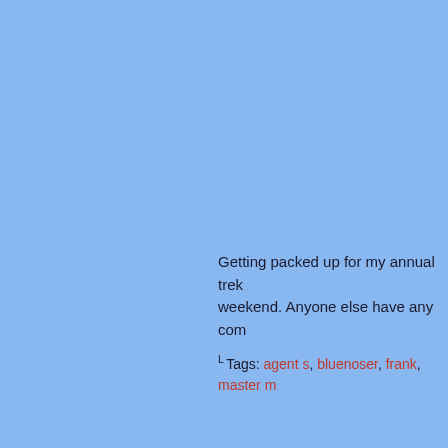Getting packed up for my annual trek this weekend. Anyone else have any com
Tags: agent s, bluenoser, frank, master m